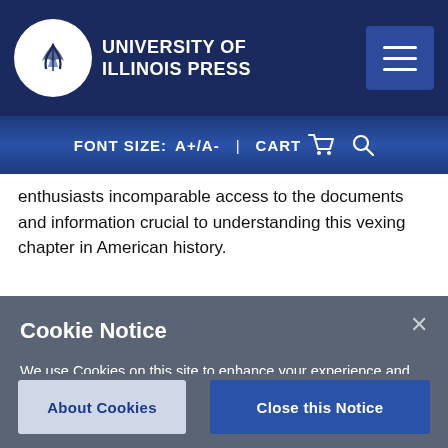[Figure (logo): University of Illinois Press logo — circular white logo with stylized plant/book graphic and text UNIVERSITY OF ILLINOIS PRESS in white on dark navy header]
FONT SIZE: A+/A-  | CART  🛒  🔍
enthusiasts incomparable access to the documents and information crucial to understanding this vexing chapter in American history.
Cookie Notice
We use Cookies on this site to enhance your experience and improve our marketing efforts. Click on "About Cookies" to learn more. By continuing to browse without changing your browser settings to block or delete Cookies, you agree to the storing of Cookies and related technologies on your device. University of Illinois System Cookie Policy
About Cookies
Close this Notice